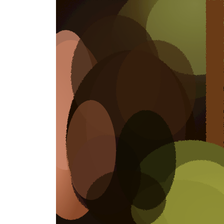[Figure (photo): Close-up macro photograph of animal skin/fur, showing a mix of dark brown and olive-green/yellowish fur textures. On the left side is pinkish-tan skin visible, transitioning to dark dense fur in the center, and lighter yellowish-green fur on the lower right. Likely a close-up of an animal's ear or facial region, possibly showing a skin condition or parasite examination.]